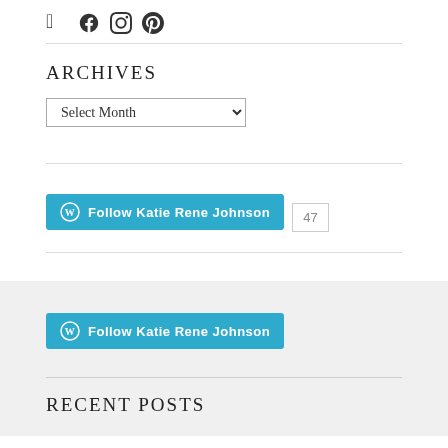[Figure (illustration): Social media icons: Facebook, Instagram, Pinterest]
ARCHIVES
Select Month (dropdown)
[Figure (other): Follow Katie Rene Johnson WordPress follow button with count 47]
[Figure (other): Follow Katie Rene Johnson WordPress follow button (footer version)]
RECENT POSTS